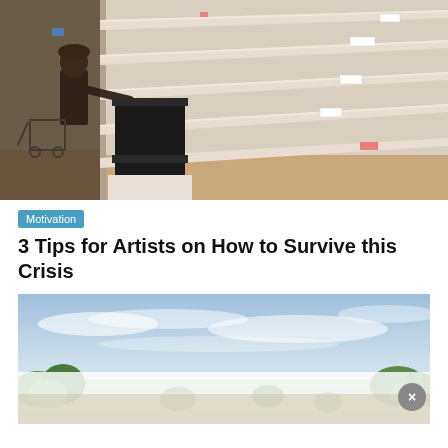[Figure (photo): Empty supermarket shelves with a person standing next to a shopping cart reaching toward the bare shelves. Large black display unit in the foreground. Warm beige/tan shelving throughout.]
Motivation
3 Tips for Artists on How to Survive this Crisis
[Figure (photo): Outdoor landscape photo showing a light blue sky with wispy clouds and green shrubs/trees in the foreground. Bottom portion overlaid with a semi-transparent white advertisement banner with a close (x) button.]